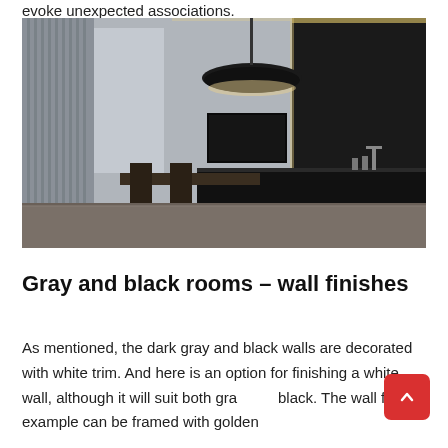evoke unexpected associations.
[Figure (photo): Modern minimalist kitchen/dining room interior with dark furniture, a black island counter, a large black dome pendant light, tall vertical panel wall divider, and city view windows. Dark gray and black tones throughout.]
Gray and black rooms – wall finishes
As mentioned, the dark gray and black walls are decorated with white trim. And here is an option for finishing a white wall, although it will suit both gray and black. The wall for example can be framed with golden